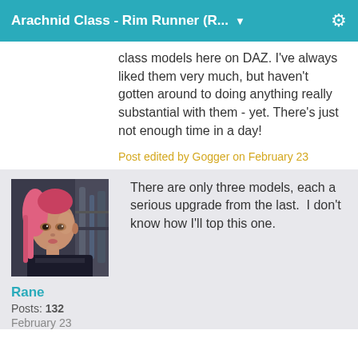Arachnid Class - Rim Runner (R...
class models here on DAZ. I've always liked them very much, but haven't gotten around to doing anything really substantial with them - yet. There's just not enough time in a day!
Post edited by Gogger on February 23
[Figure (photo): Avatar photo of user Rane, a person with pink hair in a sci-fi setting]
Rane
Posts: 132
February 23
There are only three models, each a serious upgrade from the last.  I don't know how I'll top this one.